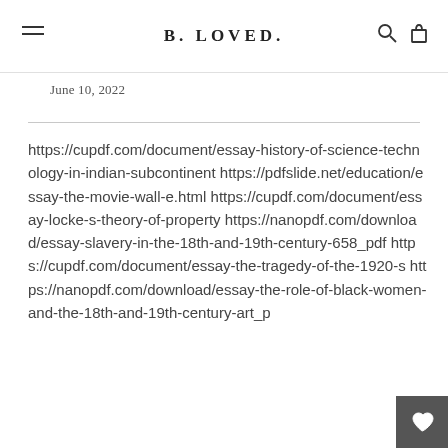B. LOVED.
June 10, 2022
https://cupdf.com/document/essay-history-of-science-technology-in-indian-subcontinent https://pdfslide.net/education/essay-the-movie-wall-e.html https://cupdf.com/document/essay-locke-s-theory-of-property https://nanopdf.com/download/essay-slavery-in-the-18th-and-19th-century-658_pdf https://cupdf.com/document/essay-the-tragedy-of-the-1920-s https://nanopdf.com/download/essay-the-role-of-black-women-and-the-18th-and-19th-century-art_p